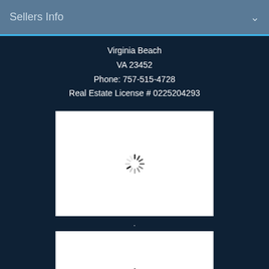Sellers Info
Virginia Beach
VA 23452
Phone: 757-515-4728
Real Estate License # 0225204293
[Figure (photo): Loading image placeholder with spinner icon - white rectangle with loading spinner in center]
·
[Figure (photo): Loading image placeholder with spinner icon - white rectangle with loading spinner in center (partially visible)]